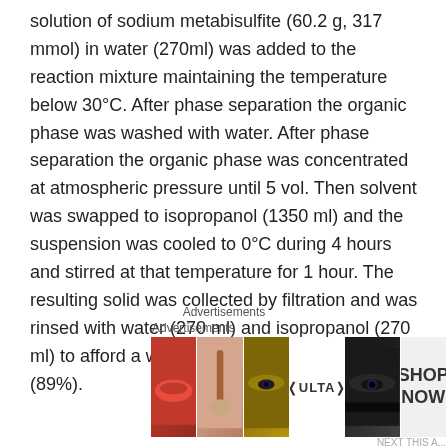solution of sodium metabisulfite (60.2 g, 317 mmol) in water (270ml) was added to the reaction mixture maintaining the temperature below 30°C. After phase separation the organic phase was washed with water. After phase separation the organic phase was concentrated at atmospheric pressure until 5 vol. Then solvent was swapped to isopropanol (1350 ml) and the suspension was cooled to 0°C during 4 hours and stirred at that temperature for 1 hour. The resulting solid was collected by filtration and was rinsed with water (270 ml) and isopropanol (270 ml) to afford a white crystalline solid in 84.8g (89%).
[Figure (other): Advertisement banner showing cosmetics/beauty products with ULTA logo and SHOP NOW call to action]